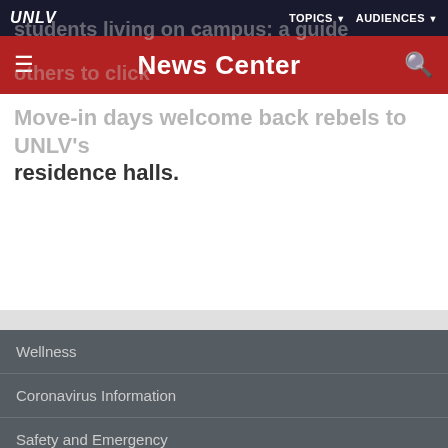UNLV | TOPICS ▼ AUDIENCES ▼
News Center
Move-in days welcome back rebels to UNLV's residence halls.
More about Campus News
Wellness
Coronavirus Information
Safety and Emergency
University Statements and Compliance
Web Accessibility